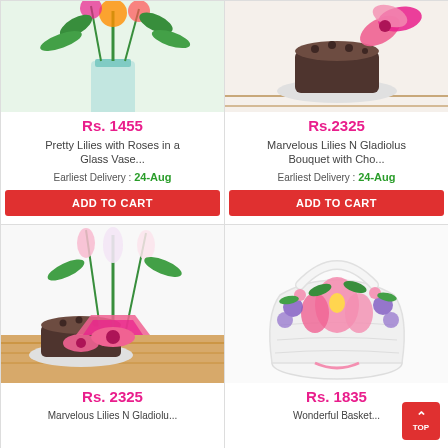[Figure (photo): Flower bouquet of pretty lilies with roses in a glass vase, shown cut off at top]
Rs. 1455
Pretty Lilies with Roses in a Glass Vase...
Earliest Delivery : 24-Aug
ADD TO CART
[Figure (photo): Chocolate cake with pink ribbon bow on wooden surface]
Rs.2325
Marvelous Lilies N Gladiolus Bouquet with Cho...
Earliest Delivery : 24-Aug
ADD TO CART
[Figure (photo): Gladiolus bouquet with pink wrapping and chocolate cake on wooden table]
Rs. 2325
Marvelous Lilies N Gladiolu...
[Figure (photo): Pink lilies and mixed flowers arranged in a white wicker basket]
Rs. 1835
Wonderful Basket...